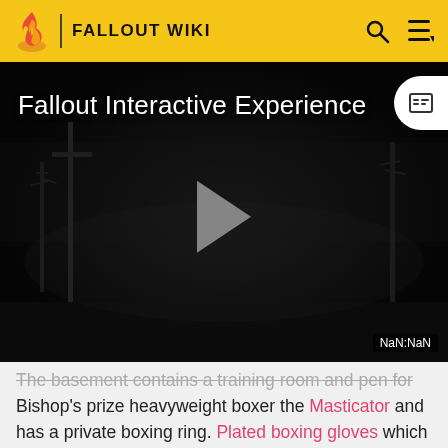FALLOUT WIKI
[Figure (screenshot): Fallout Interactive Experience video player with dark atmospheric background showing trees, a play button in the center, a captions button in the top right, and NaN:NaN timestamp at bottom right]
The basement contains a training room and pen for Bishop's prize heavyweight boxer the Masticator and has a private boxing ring. Plated boxing gloves which gives an unfair advantage when boxing at the Jungle Gym can be found in a locker here.